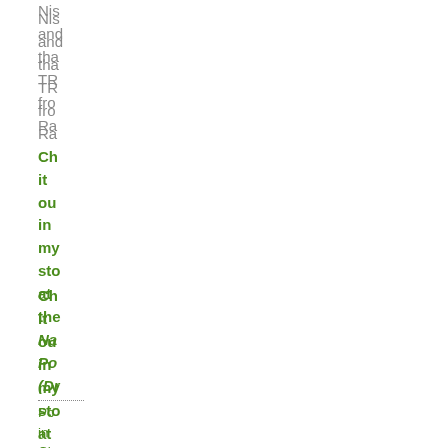Nis and tha TR from Ra
Ch it out in my sto at the Na Po (Dr
Po in Ch Fo Fo Wh Dri GM Ho